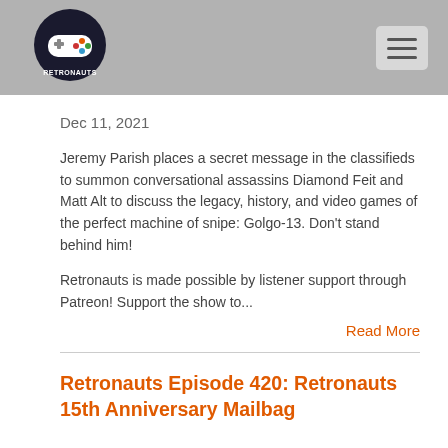[Figure (logo): Retronauts podcast logo - circular emblem with game controller graphic and 'RETRONAUTS' text below]
Dec 11, 2021
Jeremy Parish places a secret message in the classifieds to summon conversational assassins Diamond Feit and Matt Alt to discuss the legacy, history, and video games of the perfect machine of snipe: Golgo-13. Don't stand behind him!
Retronauts is made possible by listener support through Patreon! Support the show to...
Read More
Retronauts Episode 420: Retronauts 15th Anniversary Mailbag